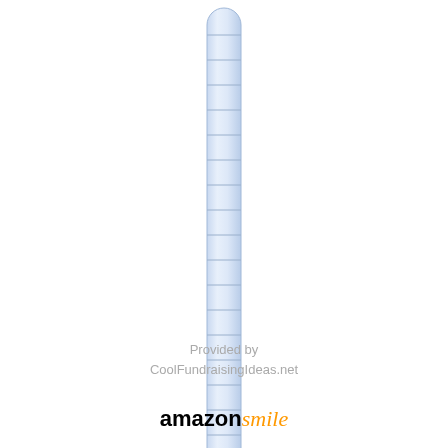[Figure (infographic): Fundraising thermometer chart showing $0 raised. A tall vertical thermometer with light blue body and horizontal tick marks, a red bulb at the bottom, and a red triangular arrow pointer at the $0 level. Labels show '$0' on the left and '$0 Raised' on the right.]
Provided by
CoolFundraisingIdeas.net
amazonsmile